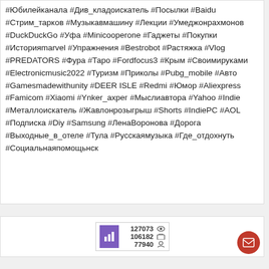#Юбилейканала #Див_кладоискатель #Посылки #Baidu #Стрим_тарков #Музыкавмашину #Лекции #Умеджонрахмонов #DuckDuckGo #Уфа #Minicooperone #Гаджеты #Покупки #Историяmarvel #Упражнения #Bestrobot #Растяжка #Vlog #PREDATORS #Фура #Таро #Fordfocus3 #Крым #Своимируками #Electronicmusic2022 #Туризм #Приколы #Pubg_mobile #Авто #Gamesmadewithunity #DEER ISLE #Redmi #Юмор #Aliexpress #Famicom #Xiaomi #Ynker_ахрег #Мыслиавтора #Yahoo #Indie #Металлоискатель #Жавлонрозыгрыш #Shorts #IndiePC #AOL #Подписка #Diy #Samsung #ЛенаВоронова #Дорога #Выходные_в_отеле #Тула #Русскаямузыка #Где_отдохнуть #Социальнаяпомощьнск
[Figure (infographic): Stats widget showing 127073 views, 106182 subscribers, 77940 members with icons]